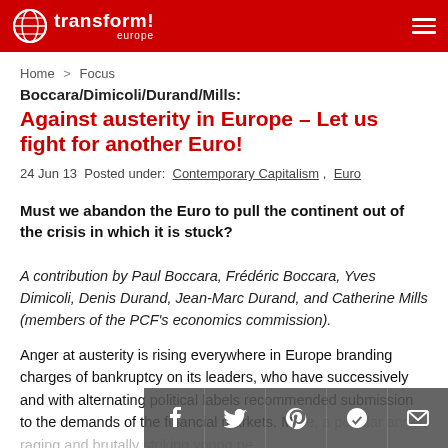transform! europe
Home > Focus
Boccara/Dimicoli/Durand/Mills:
Against austerity in Europe – Let us fight for another Euro!
24 Jun 13 Posted under: Contemporary Capitalism , Euro
Must we abandon the Euro to pull the continent out of the crisis in which it is stuck?
A contribution by Paul Boccara, Frédéric Boccara, Yves Dimicoli, Denis Durand, Jean-Marc Durand, and Catherine Mills (members of the PCF's economics commission).
Anger at austerity is rising everywhere in Europe branding charges of bankruptcy on its leaders, who have successively and with alternating political labels recommended submission to the demands of the financial markets. More, a popular anger, raging and brutally striking young pe...